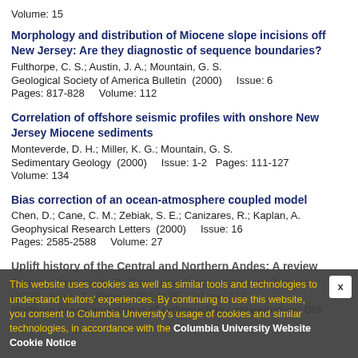Volume: 15
Morphology and distribution of Miocene slope incisions off New Jersey: Are they diagnostic of sequence boundaries?
Fulthorpe, C. S.; Austin, J. A.; Mountain, G. S.
Geological Society of America Bulletin  (2000)    Issue: 6
Pages: 817-828    Volume: 112
Correlation of offshore seismic profiles with onshore New Jersey Miocene sediments
Monteverde, D. H.; Miller, K. G.; Mountain, G. S.
Sedimentary Geology  (2000)    Issue: 1-2  Pages: 111-127
Volume: 134
Bias correction of an ocean-atmosphere coupled model
Chen, D.; Cane, C. M.; Zebiak, S. E.; Canizares, R.; Kaplan, A.
Geophysical Research Letters  (2000)    Issue: 16
Pages: 2585-2588    Volume: 27
Uplift history of the Central and Northern Andes: A review
Gregory-Wodzicki, K. M.  Geological Society of America Bulletin  (2000)  Issue: 7  Pages: 1091-1105  Volume: 112
Northern ocean inventories of radionuclide contamination: GIS
This website uses cookies as well as similar tools and technologies to understand visitors' experiences. By continuing to use this website, you consent to Columbia University's usage of cookies and similar technologies, in accordance with the Columbia University Website Cookie Notice